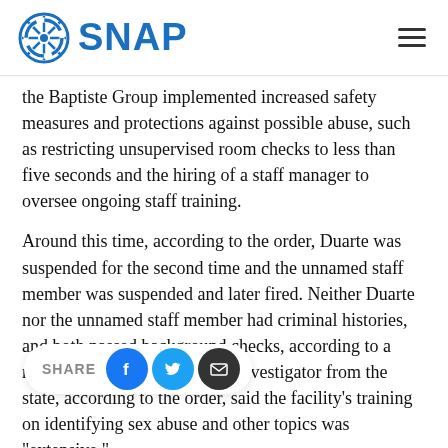SNAP
the Baptiste Group implemented increased safety measures and protections against possible abuse, such as restricting unsupervised room checks to less than five seconds and the hiring of a staff manager to oversee ongoing staff training.
Around this time, according to the order, Duarte was suspended for the second time and the unnamed staff member was suspended and later fired. Neither Duarte nor the unnamed staff member had criminal histories, and both passed background checks, according to a review by the state. A special investigator from the state, according to the order, said the facility's training on identifying sex abuse and other topics was "extensive."
With the seco [SHARE overlay] e [social icons] th ate's investigator revisited the May 20 complaint against